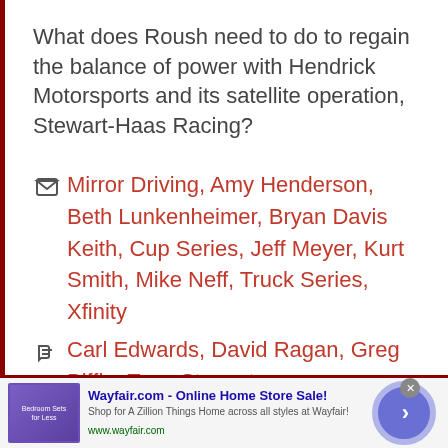What does Roush need to do to regain the balance of power with Hendrick Motorsports and its satellite operation, Stewart-Haas Racing?
Mirror Driving, Amy Henderson, Beth Lunkenheimer, Bryan Davis Keith, Cup Series, Jeff Meyer, Kurt Smith, Mike Neff, Truck Series, Xfinity
Carl Edwards, David Ragan, Greg Biffle, Tony Stewart
[Figure (screenshot): Advertisement banner for Wayfair.com - Online Home Store Sale! with purple bedroom image and navigation arrow button]